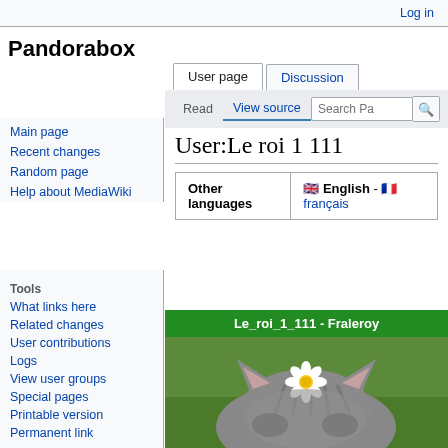Log in
Pandorabox
User:Le roi 1 111
| Other languages | 🇬🇧 English - 🇫🇷
français |
| --- | --- |
[Figure (photo): User box for Le_roi_1_111 - Fraleroy showing a cat (tabby) with a white daisy flower on its head, photographed from behind/above, with green grass in background]
Main page
Recent changes
Random page
Help about MediaWiki
Tools
What links here
Related changes
User contributions
Logs
View user groups
Special pages
Printable version
Permanent link